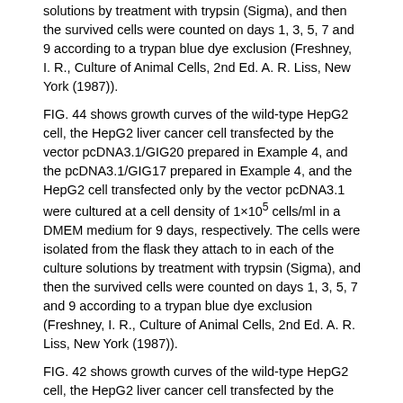solutions by treatment with trypsin (Sigma), and then the survived cells were counted on days 1, 3, 5, 7 and 9 according to a trypan blue dye exclusion (Freshney, I. R., Culture of Animal Cells, 2nd Ed. A. R. Liss, New York (1987)).
FIG. 44 shows growth curves of the wild-type HepG2 cell, the HepG2 liver cancer cell transfected by the vector pcDNA3.1/GIG20 prepared in Example 4, and the pcDNA3.1/GIG17 prepared in Example 4, and the HepG2 cell transfected only by the vector pcDNA3.1 were cultured at a cell density of 1×10^5 cells/ml in a DMEM medium for 9 days, respectively. The cells were isolated from the flask they attach to in each of the culture solutions by treatment with trypsin (Sigma), and then the survived cells were counted on days 1, 3, 5, 7 and 9 according to a trypan blue dye exclusion (Freshney, I. R., Culture of Animal Cells, 2nd Ed. A. R. Liss, New York (1987)).
FIG. 42 shows growth curves of the wild-type HepG2 cell, the HepG2 liver cancer cell transfected by the vector pcDNA3.1/GIG17 prepared in Example 4, and the HepG2 cell transfected only by the vector pcDNA3.1. As shown in FIG. 42, it was revealed that the HepG2 liver cancer cell transfected by the vector pcDNA3.1/GIG17 exhibited a higher mortality, compared to those of the HepG2 cell transfected by the expression vector pcDNA3.1 and the wild-type HepG2 cell. After 9 days of incubation, only about 45% of the HepG2 liver cancer cell transfected by the vector pcDNA3.1/GIG17 was survived when compared to the wild-type HepG2 cell. From such a result, it